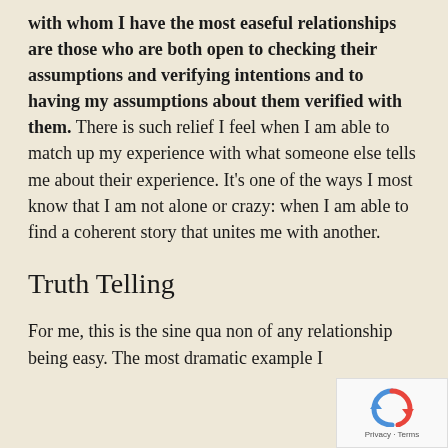with whom I have the most easeful relationships are those who are both open to checking their assumptions and verifying intentions and to having my assumptions about them verified with them. There is such relief I feel when I am able to match up my experience with what someone else tells me about their experience. It's one of the ways I most know that I am not alone or crazy: when I am able to find a coherent story that unites me with another.
Truth Telling
For me, this is the sine qua non of any relationship being easy. The most dramatic example I